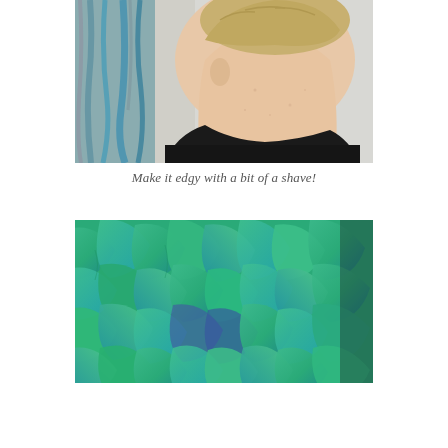[Figure (photo): Close-up side/back view of a person's head and neck with short blonde hair, shaved sides, and blue dyed streaks of hair hanging in the background against a white brick wall. Person wearing a black shirt.]
Make it edgy with a bit of a shave!
[Figure (photo): Close-up abstract photo of colorful layered fabric or feather-like material in shades of teal, green, blue, and purple, appearing blurred and textured.]